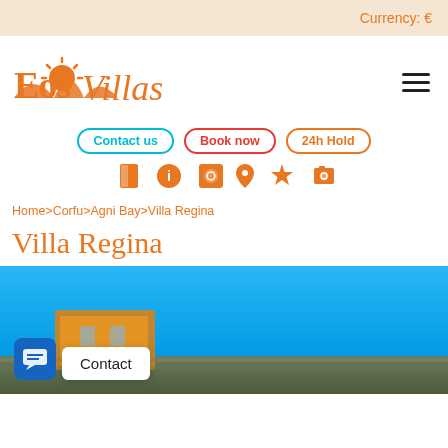Currency: €
[Figure (logo): EOS Villas logo with orange sun and cursive text]
Contact us | Book now | 24h Hold
[Figure (infographic): Row of orange icons: book, info, washing machine, location pin, star, camera]
Home>Corfu>Agni Bay>Villa Regina
Villa Regina
[Figure (photo): Photo of Villa Regina exterior with blue sky, stone walls, and orange building]
Contact